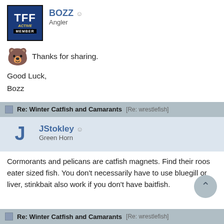[Figure (logo): TFF Active Member badge - blue background with TFF text, ACTIVE in yellow italic, MEMBER bar in black]
BOZZ ☺
Angler
Thanks for sharing.

Good Luck,
Bozz
Re: Winter Catfish and Camarants [Re: wrestlefish]
[Figure (illustration): Large blue letter J avatar for JStokley]
JStokley ☺
Green Horn
Cormorants and pelicans are catfish magnets. Find their roos eater sized fish. You don't necessarily have to use bluegill or liver, stinkbait also work if you don't have baitfish.
Re: Winter Catfish and Camarants [Re: wrestlefish]